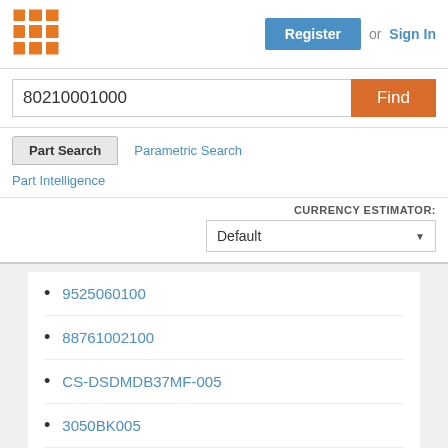[Figure (logo): Orange grid/matrix logo icon]
Register or Sign In
80210001000
Find
Part Search
Parametric Search
Part Intelligence
CURRENCY ESTIMATOR: Default
9525060100
88761002100
CS-DSDMDB37MF-005
3050BK005
415-0029-M2.0
9923010100